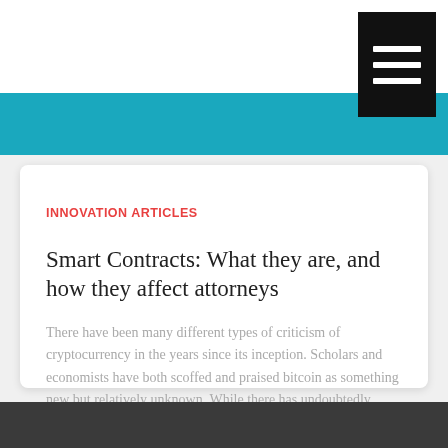[Figure (other): Teal/blue header bar with hamburger menu icon in top right corner]
INNOVATION ARTICLES
Smart Contracts: What they are, and how they affect attorneys
There have been many different types of criticism of cryptocurrency in the years since its inception. Scholars and economists have both scoffed and praised bitcoin as something new but relatively unknown. While there has undoubtedly
Read more...